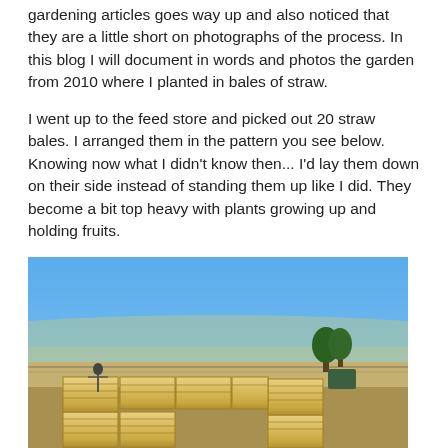gardening articles goes way up and also noticed that they are a little short on photographs of the process. In this blog I will document in words and photos the garden from 2010 where I planted in bales of straw.
I went up to the feed store and picked out 20 straw bales. I arranged them in the pattern you see below. Knowing now what I didn't know then... I'd lay them down on their side instead of standing them up like I did. They become a bit top heavy with plants growing up and holding fruits.
[Figure (photo): Outdoor photograph showing straw bales arranged in a rectangular/U-shaped garden pattern on bare ground, with a dry landscape, fencing, trees, and a clear blue sky in the background. A bird scarecrow or decorative bird figure is visible on the left side of the bale arrangement.]